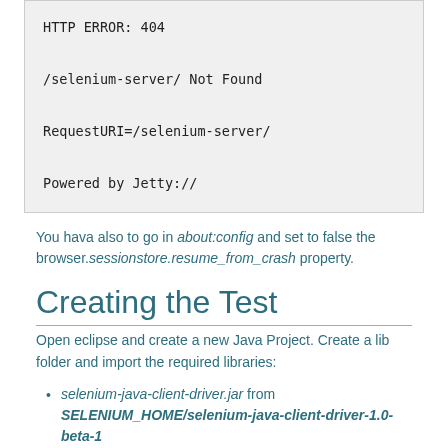[Figure (screenshot): Code block showing HTTP ERROR: 404, /selenium-server/ Not Found, RequestURI=/selenium-server/, Powered by Jetty://]
You hava also to go in about:config and set to false the browser.sessionstore.resume_from_crash property.
Creating the Test
Open eclipse and create a new Java Project. Create a lib folder and import the required libraries:
selenium-java-client-driver.jar from SELENIUM_HOME/selenium-java-client-driver-1.0-beta-1